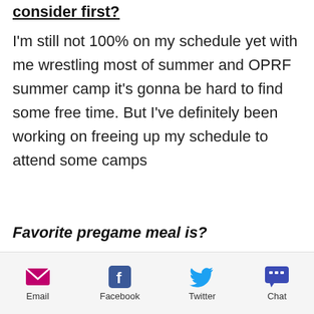consider first?
I'm still not 100% on my schedule yet with me wrestling most of summer and OPRF summer camp it's gonna be hard to find some free time. But I've definitely been working on freeing up my schedule to attend some camps
Favorite pregame meal is?
Definitely a 12 inch flatbread with extra beef and extra bacon, lettuce, onions, and hot peppers from subway